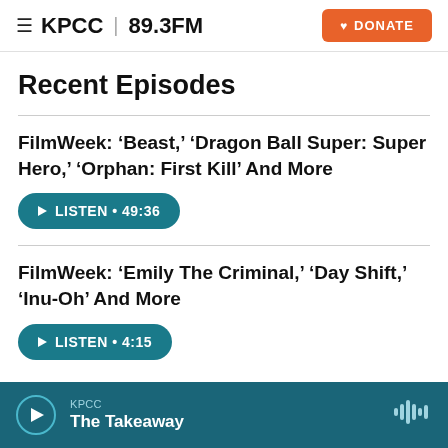KPCC 89.3FM | DONATE
Recent Episodes
FilmWeek: ‘Beast,’ ‘Dragon Ball Super: Super Hero,’ ‘Orphan: First Kill’ And More
LISTEN • 49:36
FilmWeek: ‘Emily The Criminal,’ ‘Day Shift,’ ‘Inu-Oh’ And More
LISTEN • 4:15
KPCC The Takeaway